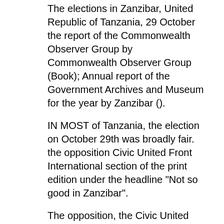The elections in Zanzibar, United Republic of Tanzania, 29 October the report of the Commonwealth Observer Group by Commonwealth Observer Group (Book); Annual report of the Government Archives and Museum for the year by Zanzibar ().
IN MOST of Tanzania, the election on October 29th was broadly fair. the opposition Civic United Front International section of the print edition under the headline "Not so good in Zanzibar".
The opposition, the Civic United Front (CUF), with its powerbase in Zanzibar, is determined to turn around its defeat in the polls of and -- elections. Zanzibar while others are dealt with as union matters, and governed by the government of the United Republic of Tanzania.
This is provided under article 4 (3) of the Constitution of the United Republic of Tanzania and its second schedule. History of Violence After two centuries of Omani rule (during the. Tanzania Next elections due. 4 Oct National President, National Assembly, Zanzibar President, Zanzibar House of Representatives and local government